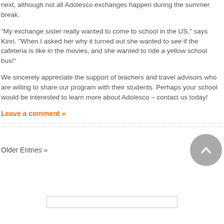next, although not all Adolesco exchanges happen during the summer break.
“My exchange sister really wanted to come to school in the US,” says Kinri. “When I asked her why it turned out she wanted to see if the cafeteria is like in the movies, and she wanted to ride a yellow school bus!”
We sincerely appreciate the support of teachers and travel advisors who are willing to share our program with their students. Perhaps your school would be interested to learn more about Adolesco – contact us today!
Leave a comment »
Older Entries »
[Figure (illustration): Gray circular scroll-to-top button with upward-pointing chevron arrow]
[input box]